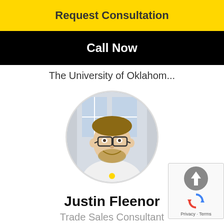Request Consultation
Call Now
The University of Oklahom...
[Figure (photo): Circular profile photo of Justin Fleenor, a man with glasses wearing a white polo shirt, smiling, standing in front of a glass door/window]
Justin Fleenor
Trade Sales Consultant
[Figure (other): reCAPTCHA widget with up arrow icon, refresh icon, and Privacy - Terms links]